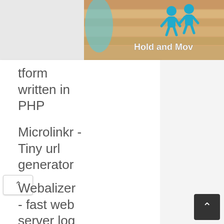[Figure (screenshot): Partial banner image showing 'Hold and Mov...' text with blue cartoon figures on a sandy/striped background]
tform written in PHP
Microlinkr - Tiny url generator
Webalizer - fast web server log file analysis
Simple Machines